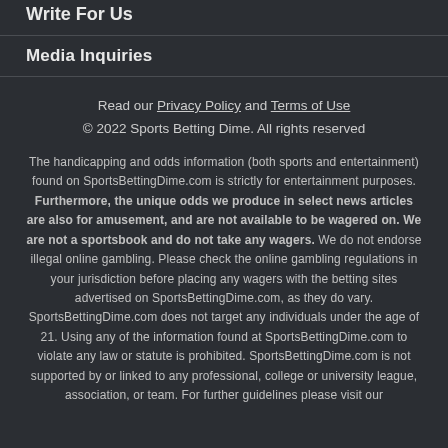Write For Us
Media Inquiries
Read our Privacy Policy and Terms of Use
© 2022 Sports Betting Dime. All rights reserved
The handicapping and odds information (both sports and entertainment) found on SportsBettingDime.com is strictly for entertainment purposes. Furthermore, the unique odds we produce in select news articles are also for amusement, and are not available to be wagered on. We are not a sportsbook and do not take any wagers. We do not endorse illegal online gambling. Please check the online gambling regulations in your jurisdiction before placing any wagers with the betting sites advertised on SportsBettingDime.com, as they do vary. SportsBettingDime.com does not target any individuals under the age of 21. Using any of the information found at SportsBettingDime.com to violate any law or statute is prohibited. SportsBettingDime.com is not supported by or linked to any professional, college or university league, association, or team. For further guidelines please visit our